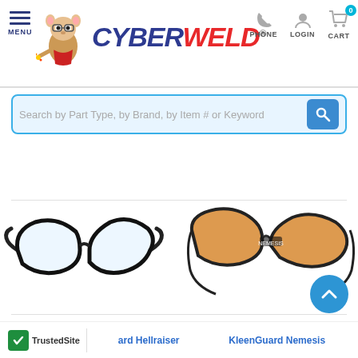CyberWeld - MENU, PHONE, LOGIN, CART
Search by Part Type, by Brand, by Item # or Keyword
[Figure (photo): Safety glasses - black frame clear lens (Hellraiser style) on left, orange tinted lens safety glasses with neck cord (KleenGuard Nemesis) on right]
TrustedSite | ard Hellraiser | KleenGuard Nemesis